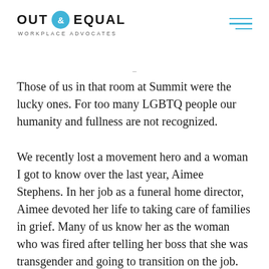OUT & EQUAL WORKPLACE ADVOCATES
Those of us in that room at Summit were the lucky ones. For too many LGBTQ people our humanity and fullness are not recognized.
We recently lost a movement hero and a woman I got to know over the last year, Aimee Stephens. In her job as a funeral home director, Aimee devoted her life to taking care of families in grief. Many of us know her as the woman who was fired after telling her boss that she was transgender and going to transition on the job. Hers is one of the cases before the Supreme